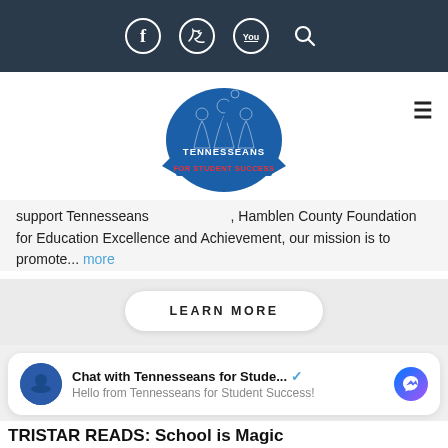Social media and search icons (Facebook, Twitter, YouTube, Search)
[Figure (logo): Tennesseans for Student Success logo: silhouettes of three children with one hand raised, blue banner with 'TENNESSEANS FOR STUDENT SUCCESS' text]
support Tenne..., Hamblen County Foundation for Education Excellence and Achievement, our mission is to promote... more
LEARN MORE
Chat with Tennesseans for Stude... Hello from Tennesseans for Student Success!
TRISTAR READS: School is Magic